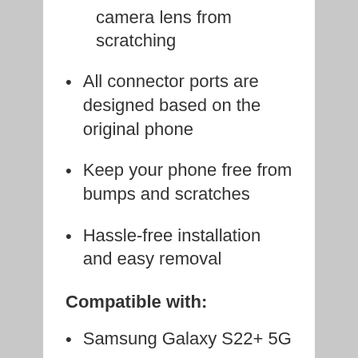camera lens from scratching
All connector ports are designed based on the original phone
Keep your phone free from bumps and scratches
Hassle-free installation and easy removal
Compatible with:
Samsung Galaxy S22+ 5G
Package included: